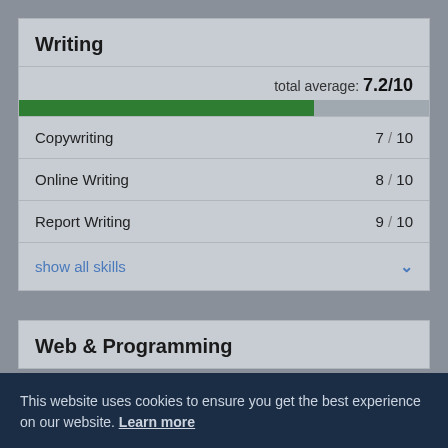Writing
[Figure (bar-chart): total average: 7.2/10]
Copywriting  7 / 10
Online Writing  8 / 10
Report Writing  9 / 10
show all skills
Web & Programming
This website uses cookies to ensure you get the best experience on our website. Learn more